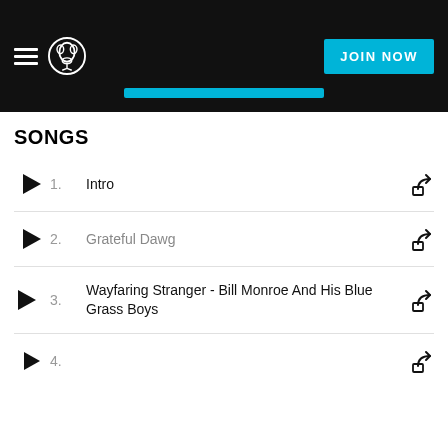Napster header with menu, logo, JOIN NOW button
SONGS
1. Intro
2. Grateful Dawg
3. Wayfaring Stranger - Bill Monroe And His Blue Grass Boys
4. (partial)